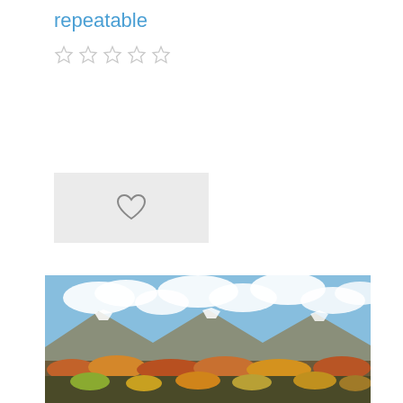repeatable
[Figure (other): Five empty star rating icons in a row]
[Figure (other): A heart/favorite button icon on a grey background]
[Figure (photo): Landscape panoramic photo showing mountains with snow caps, autumn foliage in orange and yellow tones, and a blue sky with white clouds]